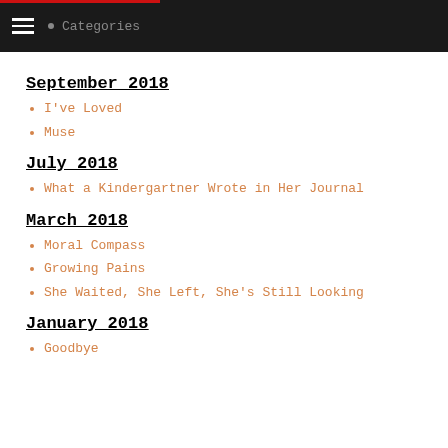September 2018
I've Loved
Muse
July 2018
What a Kindergartner Wrote in Her Journal
March 2018
Moral Compass
Growing Pains
She Waited, She Left, She's Still Looking
January 2018
Goodbye